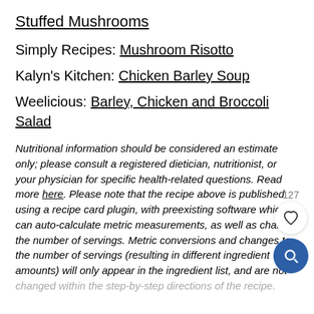Stuffed Mushrooms
Simply Recipes: Mushroom Risotto
Kalyn's Kitchen: Chicken Barley Soup
Weelicious: Barley, Chicken and Broccoli Salad
Nutritional information should be considered an estimate only; please consult a registered dietician, nutritionist, or your physician for specific health-related questions. Read more here. Please note that the recipe above is published using a recipe card plugin, with preexisting software which can auto-calculate metric measurements, as well as change the number of servings. Metric conversions and changes to the number of servings (resulting in different ingredient amounts) will only appear in the ingredient list, and are not changed within the step-by-step directions of the recipe.